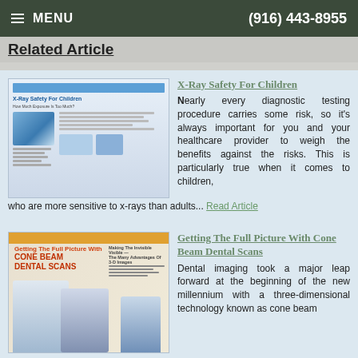≡ MENU | (916) 443-8955
Related Article
[Figure (screenshot): Thumbnail of article page titled X-Ray Safety For Children]
X-Ray Safety For Children
Nearly every diagnostic testing procedure carries some risk, so it's always important for you and your healthcare provider to weigh the benefits against the risks. This is particularly true when it comes to children, who are more sensitive to x-rays than adults... Read Article
[Figure (photo): Thumbnail of article about Cone Beam Dental Scans showing doctor and dental equipment]
Getting The Full Picture With Cone Beam Dental Scans
Dental imaging took a major leap forward at the beginning of the new millennium with a three-dimensional technology known as cone beam computerized tomography (CBCT). The new cone of...